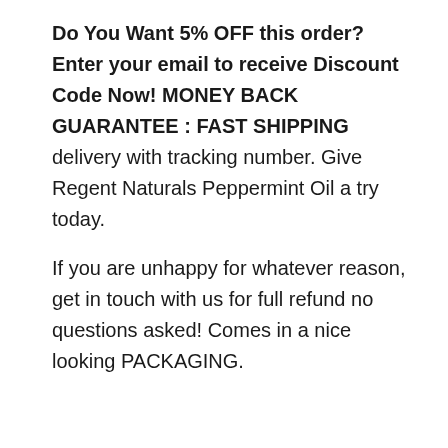Do You Want 5% OFF this order? Enter your email to receive Discount Code Now! MONEY BACK GUARANTEE : FAST SHIPPING delivery with tracking number. Give Regent Naturals Peppermint Oil a try today.
If you are unhappy for whatever reason, get in touch with us for full refund no questions asked! Comes in a nice looking PACKAGING.